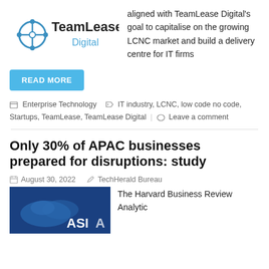[Figure (logo): TeamLease Digital logo with circular icon and text]
aligned with TeamLease Digital's goal to capitalise on the growing LCNC market and build a delivery centre for IT firms
READ MORE
Enterprise Technology   IT industry, LCNC, low code no code, Startups, TeamLease, TeamLease Digital   Leave a comment
Only 30% of APAC businesses prepared for disruptions: study
August 30, 2022   TechHerald Bureau
[Figure (photo): Blue image showing ASIA map with text overlay]
The Harvard Business Review Analytic